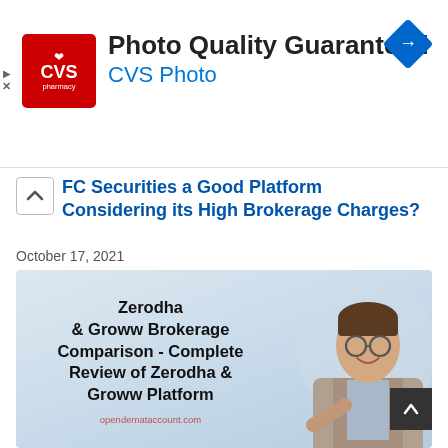[Figure (screenshot): CVS Pharmacy advertisement banner with CVS logo on left, 'Photo Quality Guaranteed' bold text, and 'CVS Photo' in blue, with a diamond navigation icon on the right]
FC Securities a Good Platform Considering its High Brokerage Charges?
October 17, 2021
[Figure (illustration): Promotional image for 'Zerodha & Groww Brokerage Comparison - Complete Review of Zerodha & Groww Platform' with a man in a suit pointing, on a light blue-grey background. Website: opendemataccount.com]